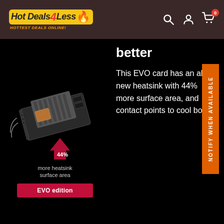Hot Deals 4 Less – HOTTEST DEALS ONLINE!
[Figure (photo): Product image of a GPU/graphics card with a red upward arrow indicating 44% more heatsink surface area, labeled EVO edition]
more heatsink surface area
EVO edition
better
This EVO card has an all-new heatsink with 44% more surface area, and contact points to cool both